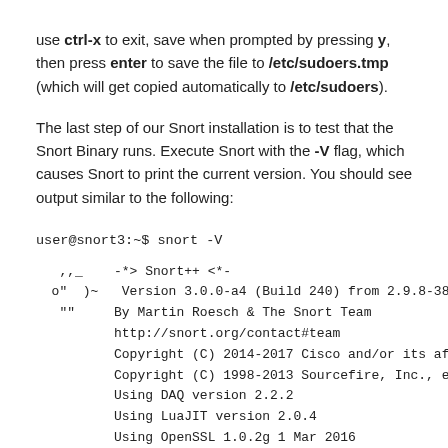use ctrl-x to exit, save when prompted by pressing y, then press enter to save the file to /etc/sudoers.tmp (which will get copied automatically to /etc/sudoers).
The last step of our Snort installation is to test that the Snort Binary runs. Execute Snort with the -V flag, which causes Snort to print the current version. You should see output similar to the following:
user@snort3:~$ snort -V
,,_    -*> Snort++ <*-
  o"  )~   Version 3.0.0-a4 (Build 240) from 2.9.8-383
   ""     By Martin Roesch & The Snort Team
          http://snort.org/contact#team
          Copyright (C) 2014-2017 Cisco and/or its affiliates. All rights rese
          Copyright (C) 1998-2013 Sourcefire, Inc., et al.
          Using DAQ version 2.2.2
          Using LuaJIT version 2.0.4
          Using OpenSSL 1.0.2g 1 Mar 2016